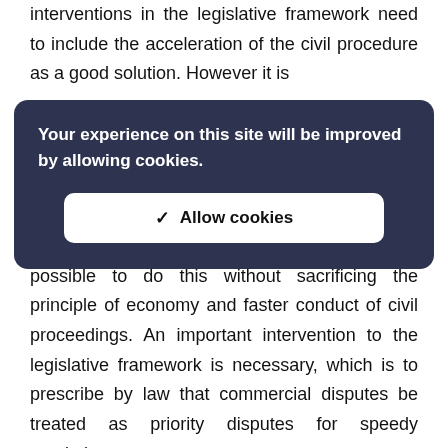interventions in the legislative framework need to include the acceleration of the civil procedure as a good solution. However it is
[Figure (screenshot): Cookie consent overlay with dark background reading 'Your experience on this site will be improved by allowing cookies.' and an 'Allow cookies' button.]
Similarly to criminal procedural law, it is certainly possible to do this without sacrificing the principle of economy and faster conduct of civil proceedings. An important intervention to the legislative framework is necessary, which is to prescribe by law that commercial disputes be treated as priority disputes for speedy resolution.